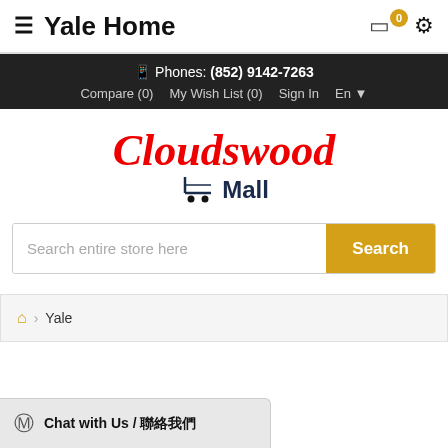≡ Yale Home
Phones: (852) 9142-7263 | Compare (0) | My Wish List (0) | Sign In | En
[Figure (logo): Cloudswood Mall logo with shopping cart icon]
Search entire store here
🏠 › Yale
Chat with Us / 聯絡我們